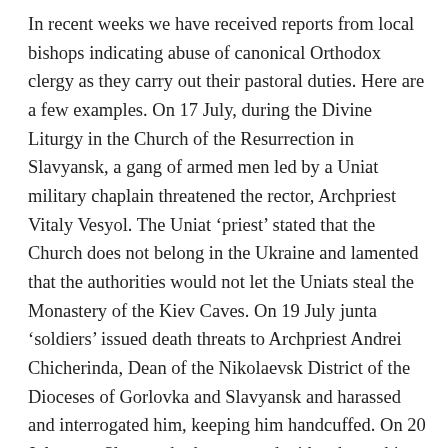In recent weeks we have received reports from local bishops indicating abuse of canonical Orthodox clergy as they carry out their pastoral duties. Here are a few examples. On 17 July, during the Divine Liturgy in the Church of the Resurrection in Slavyansk, a gang of armed men led by a Uniat military chaplain threatened the rector, Archpriest Vitaly Vesyol. The Uniat 'priest' stated that the Church does not belong in the Ukraine and lamented that the authorities would not let the Uniats steal the Monastery of the Kiev Caves. On 19 July junta 'soldiers' issued death threats to Archpriest Andrei Chicherinda, Dean of the Nikolaevsk District of the Dioceses of Gorlovka and Slavyansk and harassed and interrogated him, keeping him handcuffed. On 20 July, near Slavyansk, thugs armed with sub-machine guns made Archpriest Vadim Yablonovsky dig his own grave and on the same day they arrested Archpriest Viktor Stratovich, handcuffed him, and took him away with a bag over his head into the woods, where they forced him to grovel on his knees as they interrogated him.